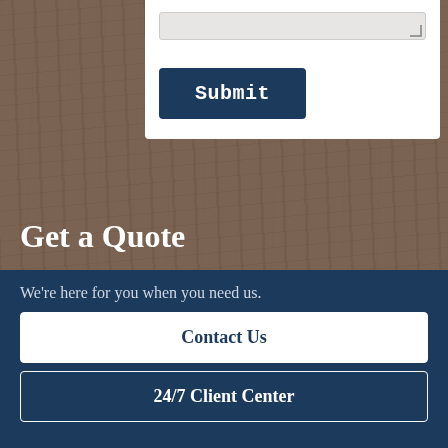[Figure (screenshot): Partial form card on wood-textured background showing a textarea and a dark navy Submit button]
Get a Quote
It only takes a minute to get started.
1  Fill out the form, we'll be in
We're here for you when you need us.
Contact Us
24/7 Client Center